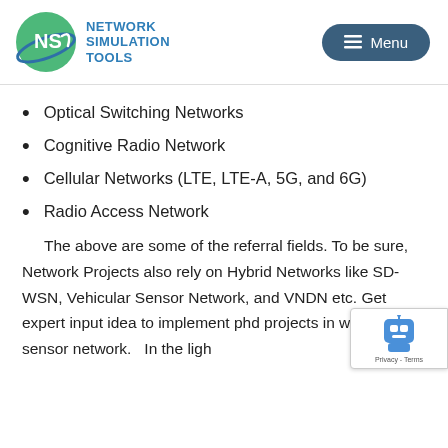[Figure (logo): Network Simulation Tools logo with NS initials in a green circle with orbit ring, and blue text reading NETWORK SIMULATION TOOLS]
[Figure (other): Dark teal rounded rectangle Menu button with hamburger icon]
Optical Switching Networks
Cognitive Radio Network
Cellular Networks (LTE, LTE-A, 5G, and 6G)
Radio Access Network
The above are some of the referral fields. To be sure, Network Projects also rely on Hybrid Networks like SD-WSN, Vehicular Sensor Network, and VNDN etc. Get expert input idea to implement phd projects in wireless sensor network.   In the ligh
[Figure (other): Google reCAPTCHA badge with robot icon and Privacy - Terms text]